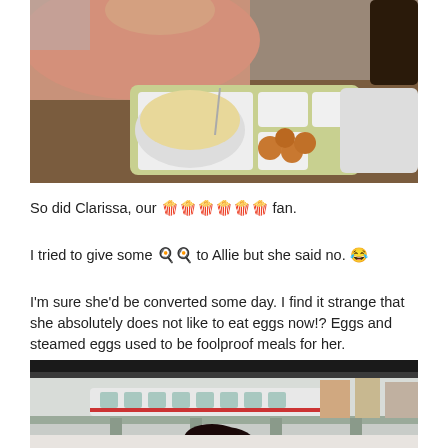[Figure (photo): A person eating from a food tray with multiple compartments containing rice and fried food items, on a table.]
So did Clarissa, our 🍳🍳🍳🍳🍳🍳 fan.
I tried to give some 🍳🍳 to Allie but she said no. 😂
I'm sure she'd be converted some day. I find it strange that she absolutely does not like to eat eggs now!? Eggs and steamed eggs used to be foolproof meals for her.
[Figure (photo): View from inside a building or elevated train, looking out through large windows at an MRT train and cityscape.]